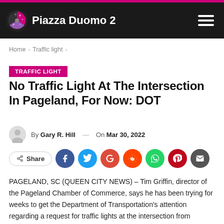Piazza Duomo 2
Home > Traffic light >
TRAFFIC LIGHT
No Traffic Light At The Intersection In Pageland, For Now: DOT
By Gary R. Hill — On Mar 30, 2022
Share
PAGELAND, SC (QUEEN CITY NEWS) – Tim Griffin, director of the Pageland Chamber of Commerce, says he has been trying for weeks to get the Department of Transportation's attention regarding a request for traffic lights at the intersection from